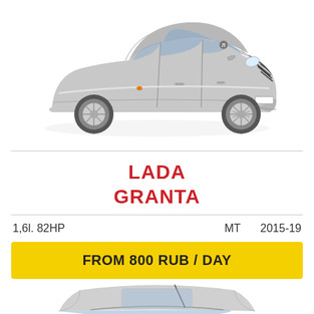[Figure (illustration): Silver Lada Granta sedan car viewed from front-left three-quarter angle, on white background]
LADA
GRANTA
1,6l. 82HP          MT     2015-19
FROM 800 RUB / DAY
[Figure (illustration): Partial top view of another car (roof and windshield visible), white/silver, cropped at bottom of page]